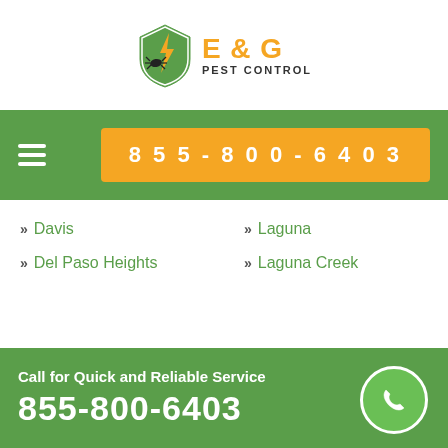[Figure (logo): E & G Pest Control logo with shield icon containing a bug and lightning bolt, text 'E & G' in orange and 'PEST CONTROL' in dark]
855-800-6403
Davis
Del Paso Heights
Laguna
Laguna Creek
Call for Quick and Reliable Service
855-800-6403